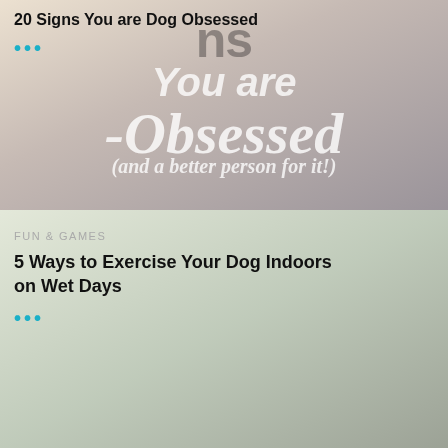20 Signs You are Dog Obsessed
[Figure (photo): Photo of a woman with a dog, overlaid with large decorative text reading 'Signs You are Dog-Obsessed (and a better person for it!)']
...
FUN & GAMES
5 Ways to Exercise Your Dog Indoors on Wet Days
[Figure (photo): Photo of a dog shaking off water outdoors in a green environment]
...